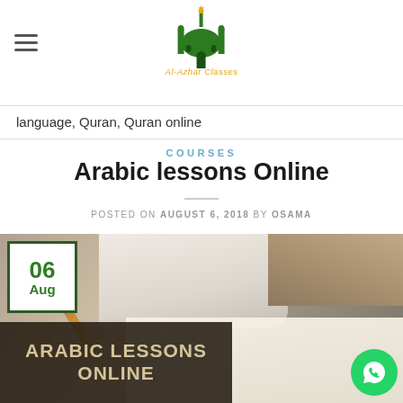Al-Azhar Classes (logo with hamburger menu)
language, Quran, Quran online
COURSES
Arabic lessons Online
POSTED ON AUGUST 6, 2018 BY OSAMA
[Figure (photo): Person writing Arabic text on paper with a pen, with a date badge showing 06 Aug and a banner reading ARABIC LESSONS ONLINE over the image, and a WhatsApp button in the bottom right corner.]